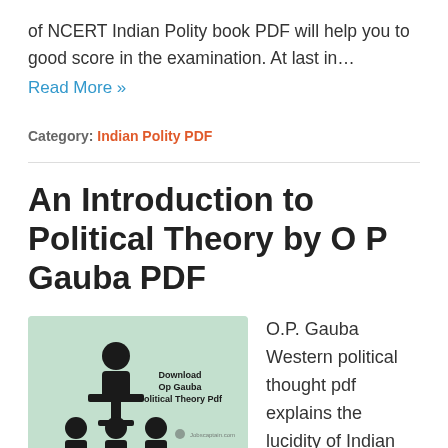of NCERT Indian Polity book PDF will help you to good score in the examination. At last in…
Read More »
Category: Indian Polity PDF
An Introduction to Political Theory by O P Gauba PDF
[Figure (illustration): Book cover thumbnail showing silhouettes of people at a podium with text 'Download Op Gauba Political Theory Pdf' on a green background]
O.P. Gauba Western political thought pdf explains the lucidity of Indian